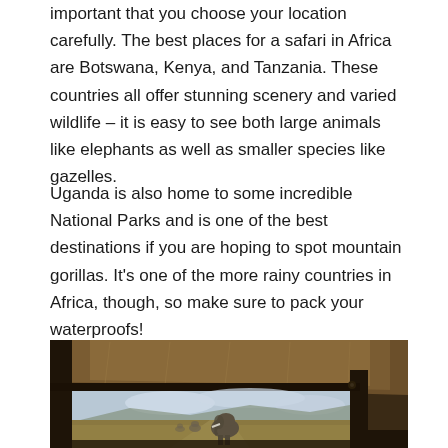important that you choose your location carefully. The best places for a safari in Africa are Botswana, Kenya, and Tanzania. These countries all offer stunning scenery and varied wildlife – it is easy to see both large animals like elephants as well as smaller species like gazelles.
Uganda is also home to some incredible National Parks and is one of the best destinations if you are hoping to spot mountain gorillas. It's one of the more rainy countries in Africa, though, so make sure to pack your waterproofs!
[Figure (photo): View from inside a safari vehicle looking out at an African savanna landscape. The vehicle's canvas roof and metal frame are visible in the foreground. An elephant is seen in the middle distance on a dirt track with dry golden grass, mountains visible in the background under a cloudy sky.]